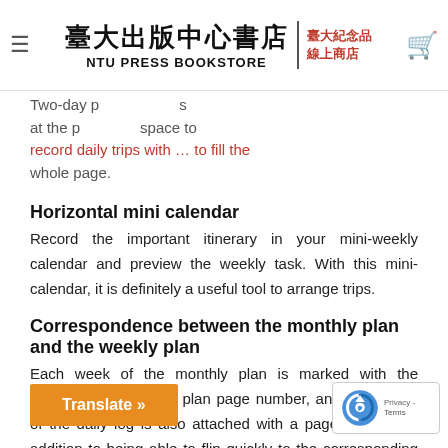臺大出版中心書店 | 臺大紀念品 NTU PRESS BOOKSTORE | 線上商店
Two-day … at the page … space to record daily trips with … fill the whole page.
Horizontal mini calendar
Record the important itinerary in your mini-weekly calendar and preview the weekly task. With this mini-calendar, it is definitely a useful tool to arrange trips.
Correspondence between the monthly plan and the weekly plan
Each week of the monthly plan is marked with the corresponding weekly plan page number, and each page of the daily log is also attached with a page number. In addition to being able to flip quickly to the corresponding date, the user can use the bullet j… to make an index in any blank space of the log. T… w… sier to summarize the notes of s…